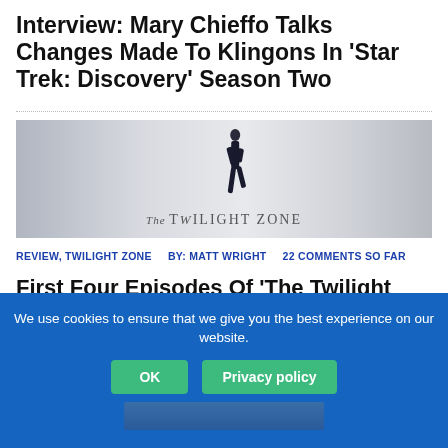Interview: Mary Chieffo Talks Changes Made To Klingons In 'Star Trek: Discovery' Season Two
[Figure (photo): Promotional image for The Twilight Zone showing a silhouetted figure walking, with 'The Twilight Zone' logo text at the bottom]
REVIEW, TWILIGHT ZONE   BY: MATT WRIGHT   22 COMMENTS SO FAR
First Four Episodes Of 'The Twilight Zone' Show Promise For A New Era
We use cookies to ensure that we give you the best experience on our website.
OK   Privacy policy